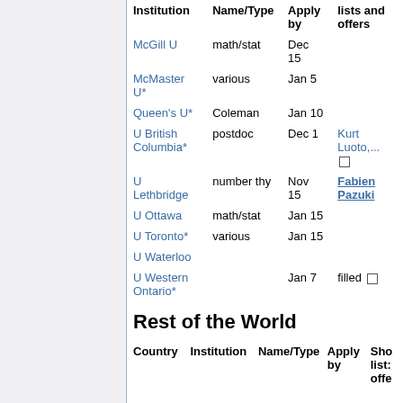| Institution | Name/Type | Apply by | Show lists and offers |
| --- | --- | --- | --- |
| McGill U | math/stat | Dec 15 |  |
| McMaster U* | various | Jan 5 |  |
| Queen's U* | Coleman | Jan 10 |  |
| U British Columbia* | postdoc | Dec 1 | Kurt Luoto,... □ |
| U Lethbridge | number thy | Nov 15 | Fabien Pazuki |
| U Ottawa | math/stat | Jan 15 |  |
| U Toronto* | various | Jan 15 |  |
| U Waterloo |  |  |  |
| U Western Ontario* |  | Jan 7 | filled □ |
Rest of the World
| Country | Institution | Name/Type | Apply by | Show lists/offers |
| --- | --- | --- | --- | --- |